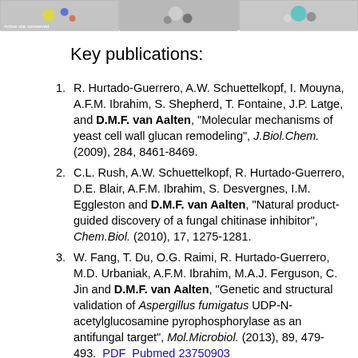[Figure (photo): Three grayscale scientific images at top of page, partially cropped. Left image shows molecular structure with colored atoms and text 'Active site conserved'. Middle and right images show similar molecular/protein structures.]
Key publications:
R. Hurtado-Guerrero, A.W. Schuettelkopf, I. Mouyna, A.F.M. Ibrahim, S. Shepherd, T. Fontaine, J.P. Latge, and D.M.F. van Aalten, "Molecular mechanisms of yeast cell wall glucan remodeling", J.Biol.Chem. (2009), 284, 8461-8469.
C.L. Rush, A.W. Schuettelkopf, R. Hurtado-Guerrero, D.E. Blair, A.F.M. Ibrahim, S. Desvergnes, I.M. Eggleston and D.M.F. van Aalten, "Natural product-guided discovery of a fungal chitinase inhibitor", Chem.Biol. (2010), 17, 1275-1281.
W. Fang, T. Du, O.G. Raimi, R. Hurtado-Guerrero, M.D. Urbaniak, A.F.M. Ibrahim, M.A.J. Ferguson, C. Jin and D.M.F. van Aalten, "Genetic and structural validation of Aspergillus fumigatus UDP-N-acetylglucosamine pyrophosphorylase as an antifungal target", Mol.Microbiol. (2013), 89, 479-493. PDF  Pubmed 23750903
A. Striebeck, D.A. Robinson, A.W. Schuettelkopf and